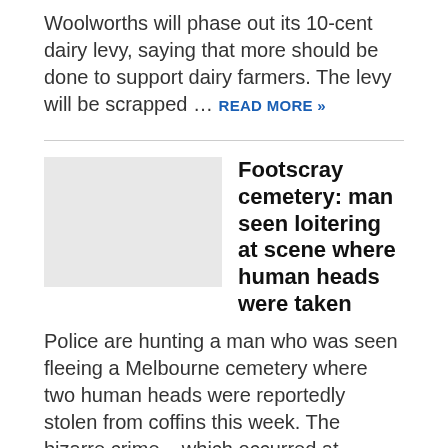Woolworths will phase out its 10-cent dairy levy, saying that more should be done to support dairy farmers. The levy will be scrapped … READ MORE »
Footscray cemetery: man seen loitering at scene where human heads were taken
Police are hunting a man who was seen fleeing a Melbourne cemetery where two human heads were reportedly stolen from coffins this week. The bizarre crime – which occurred at … READ MORE »
Parramatta Road pile-up: Two hospitalised after horror six-car crash